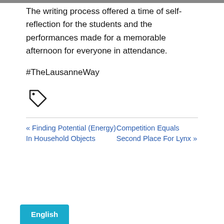The writing process offered a time of self-reflection for the students and the performances made for a memorable afternoon for everyone in attendance.
#TheLausanneWay
[Figure (other): Tag/label icon (price tag outline)]
« Finding Potential (Energy) In Household Objects
Competition Equals Second Place For Lynx »
English